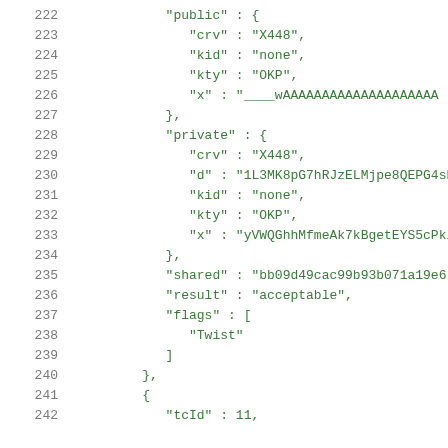222  "public" : {
223    "crv" : "X448",
224    "kid" : "none",
225    "kty" : "OKP",
226    "x" : "____wAAAAAAAAAAAAAAAAAAAA
227  },
228  "private" : {
229    "crv" : "X448",
230    "d" : "1L3MK8pG7hRJzELMjpe8QEPG4sD
231    "kid" : "none",
232    "kty" : "OKP",
233    "x" : "yVWQGhhMfmeAk7kBgetEYS5cPkl
234  },
235  "shared" : "bb09d49cac99b93b071a19e6
236  "result" : "acceptable",
237  "flags" : [
238    "Twist"
239  ]
240  },
241  {
242    "tcId" : 11,